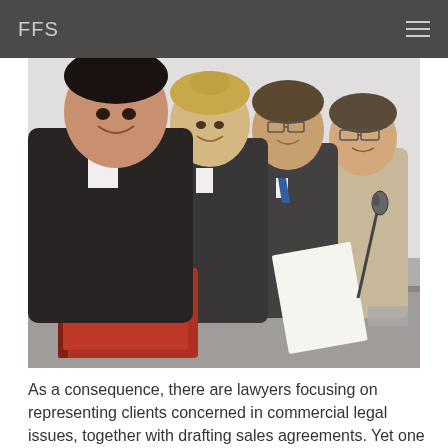FFS
[Figure (photo): Four business professionals (three women and one man) sitting in a row at a table, smiling, in formal attire. One woman holds a red binder, another holds papers near a microphone. Conference or press setting.]
As a consequence, there are lawyers focusing on representing clients concerned in commercial legal issues, together with drafting sales agreements. Yet one other component of the larger private injury legal professional cohort are lawyers that